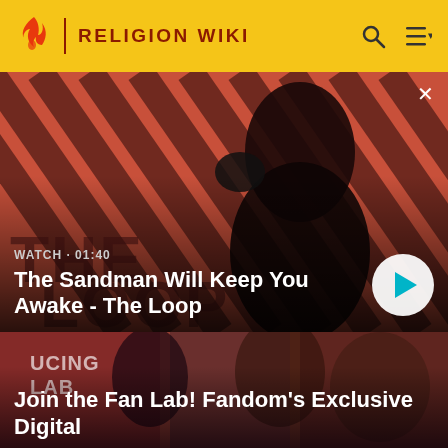RELIGION WIKI
[Figure (screenshot): Video thumbnail showing a dark figure (The Sandman character) with a raven on shoulder, against diagonal striped red-black background. 'THE LOOP' text partially visible. WATCH · 01:40 label and play button overlay.]
The Sandman Will Keep You Awake - The Loop
[Figure (screenshot): Promotional image for Fandom Fan Lab showing two characters in costume against a red/dark background with 'UCING' and 'LAB' text partially visible.]
Join the Fan Lab! Fandom's Exclusive Digital